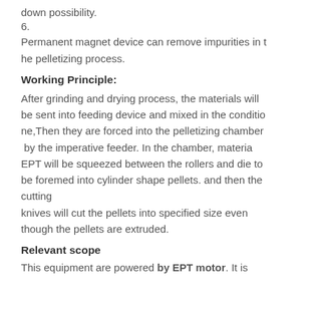down possibility.
6.
Permanent magnet device can remove impurities in the pelletizing process.
Working Principle:
After grinding and drying process, the materials will be sent into feeding device and mixed in the conditione,Then they are forced into the pelletizing chamber by the imperative feeder. In the chamber, materia EPT will be squeezed between the rollers and die to be foremed into cylinder shape pellets. and then the cutting knives will cut the pellets into specified size even though the pellets are extruded.
Relevant scope
This equipment are powered by EPT motor. It is